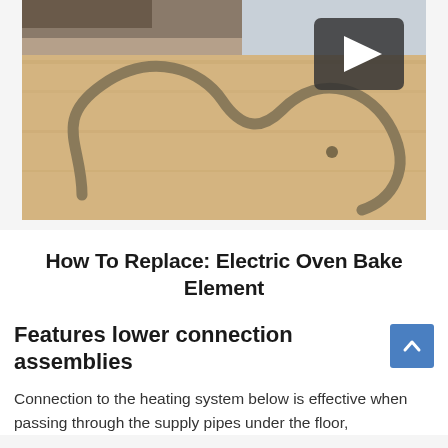[Figure (screenshot): Video thumbnail showing an electric oven bake element (a curved metal heating coil) lying on a light wood surface, with a dark play button overlay in the upper right corner. A person's legs/feet are partially visible at the top.]
How To Replace: Electric Oven Bake Element
Features lower connection assemblies
Connection to the heating system below is effective when passing through the supply pipes under the floor,